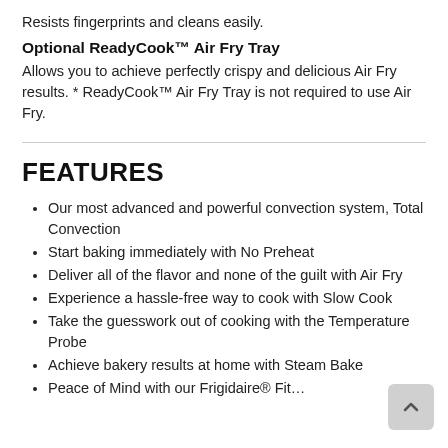Resists fingerprints and cleans easily.
Optional ReadyCook™ Air Fry Tray
Allows you to achieve perfectly crispy and delicious Air Fry results. * ReadyCook™ Air Fry Tray is not required to use Air Fry.
FEATURES
Our most advanced and powerful convection system, Total Convection
Start baking immediately with No Preheat
Deliver all of the flavor and none of the guilt with Air Fry
Experience a hassle-free way to cook with Slow Cook
Take the guesswork out of cooking with the Temperature Probe
Achieve bakery results at home with Steam Bake
Peace of Mind with our Frigidaire® Fit…